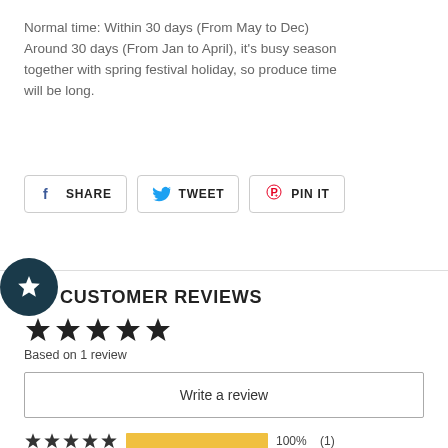Normal time: Within 30 days (From May to Dec) Around 30 days (From Jan to April), it's busy season together with spring festival holiday, so produce time will be long.
[Figure (infographic): Social share buttons: SHARE (Facebook), TWEET (Twitter), PIN IT (Pinterest)]
[Figure (infographic): Dark circular badge with white star icon]
CUSTOMER REVIEWS
[Figure (infographic): 5 filled star rating]
Based on 1 review
Write a review
[Figure (infographic): Rating bar row: 5 stars, 100% gold bar, 100%, (1)]
[Figure (infographic): Rating bar row: 4 stars, empty bar, 0%, (0)]